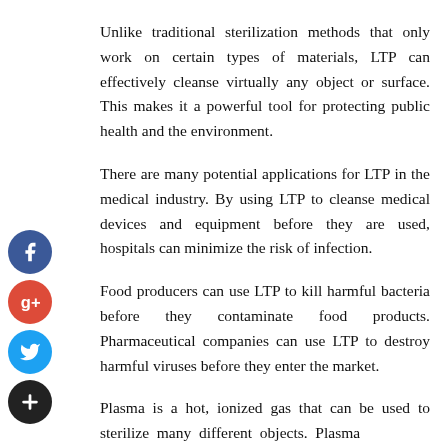Unlike traditional sterilization methods that only work on certain types of materials, LTP can effectively cleanse virtually any object or surface. This makes it a powerful tool for protecting public health and the environment.
There are many potential applications for LTP in the medical industry. By using LTP to cleanse medical devices and equipment before they are used, hospitals can minimize the risk of infection.
Food producers can use LTP to kill harmful bacteria before they contaminate food products. Pharmaceutical companies can use LTP to destroy harmful viruses before they enter the market.
Plasma is a hot, ionized gas that can be used to sterilize many different objects. Plasma